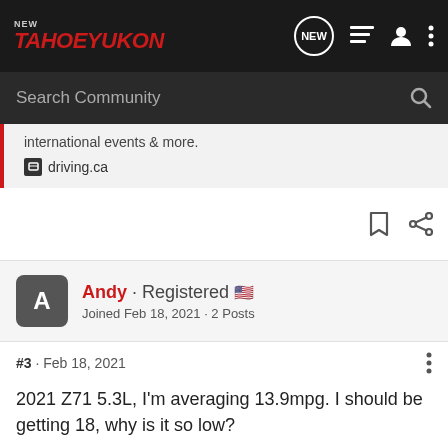NEW TahoeYukon
international events & more.
driving.ca
Andy · Registered
Joined Feb 18, 2021 · 2 Posts
#3 · Feb 18, 2021
2021 Z71 5.3L, I'm averaging 13.9mpg. I should be getting 18, why is it so low?